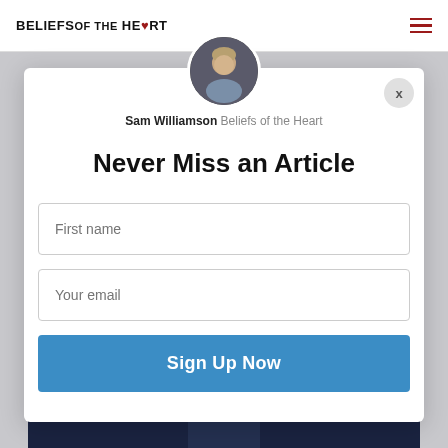BELIEFS OF THE HEART
[Figure (screenshot): Modal popup with avatar photo of Sam Williamson, newsletter signup form with First name and Your email fields, and Sign Up Now button]
Sam Williamson Beliefs of the Heart
Never Miss an Article
First name
Your email
Sign Up Now